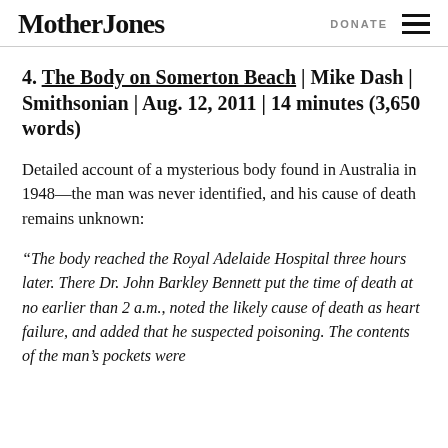Mother Jones | DONATE
4. The Body on Somerton Beach | Mike Dash | Smithsonian | Aug. 12, 2011 | 14 minutes (3,650 words)
Detailed account of a mysterious body found in Australia in 1948—the man was never identified, and his cause of death remains unknown:
“The body reached the Royal Adelaide Hospital three hours later. There Dr. John Barkley Bennett put the time of death at no earlier than 2 a.m., noted the likely cause of death as heart failure, and added that he suspected poisoning. The contents of the man’s pockets were